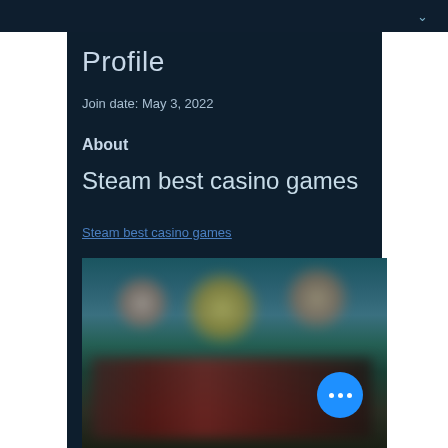Profile
Join date: May 3, 2022
About
Steam best casino games
Steam best casino games
[Figure (photo): Blurred screenshot of casino games on Steam platform showing colorful game characters and scenes]